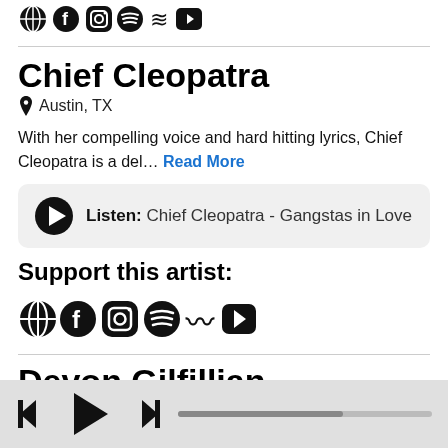[Figure (illustration): Row of social media icons: globe, Facebook f, Instagram, Spotify, SoundCloud, YouTube, Apple — partially visible at top of page]
Chief Cleopatra
📍 Austin, TX
With her compelling voice and hard hitting lyrics, Chief Cleopatra is a del… Read More
Listen: Chief Cleopatra - Gangstas in Love
Support this artist:
[Figure (illustration): Row of social media icons: globe, Facebook f, Instagram, Spotify, SoundCloud, YouTube, Apple]
Devon Gilfillian (partially visible)
[Figure (illustration): Media player bar with skip-back, play, skip-forward controls and a progress bar]